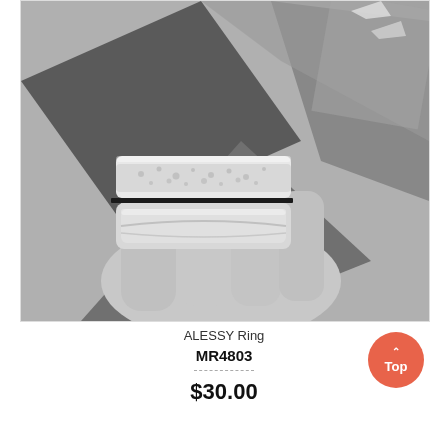[Figure (photo): Black and white photograph of two silver rings on a gray surface. The rings appear to be ALESSY brand jewelry — one ring has a flat hammered rectangular top piece and the other has a smooth curved band. Both are shown on a hand against a dark angular geometric background.]
ALESSY Ring
MR4803
$30.00